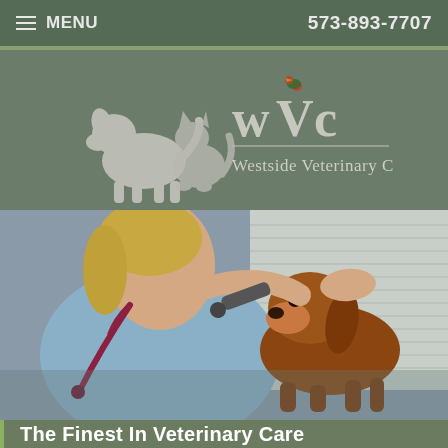MENU   573-893-7707
[Figure (logo): WVC Westside Veterinary Clinic logo with silhouettes of a dog, cat, and bird]
[Figure (photo): Veterinarian in blue scrubs examining a brown dachshund's ear with an otoscope]
The Finest In Veterinary Care